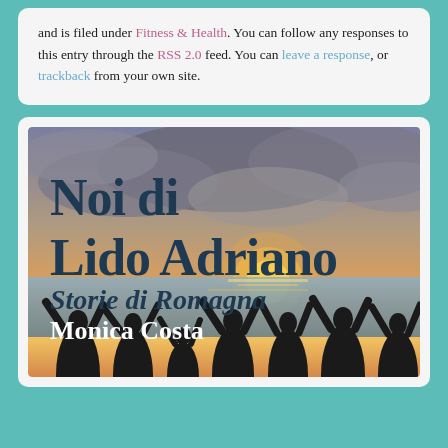and is filed under Fitness & Health. You can follow any responses to this entry through the RSS 2.0 feed. You can leave a response, or trackback from your own site.
[Figure (illustration): Book cover of 'Noi di Lido Adriano - Storie di Romagna' by Monica Costa. Background shows a sunset over water with silhouettes of people with raised hands in the foreground. Title text in dark blue serif font, subtitle in italic dark blue, author name in white.]